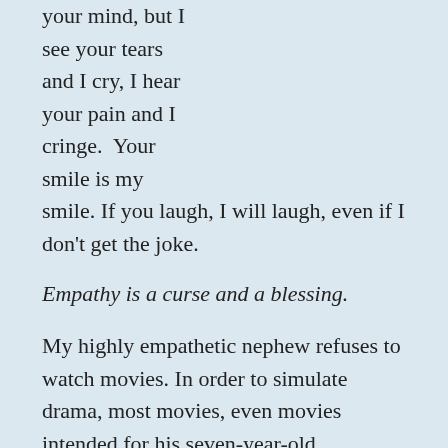your mind, but I see your tears and I cry, I hear your pain and I cringe.  Your smile is my smile. If you laugh, I will laugh, even if I don't get the joke.
Empathy is a curse and a blessing.
My highly empathetic nephew refuses to watch movies. In order to simulate drama, most movies, even movies intended for his seven-year-old demographic, show their characters experiencing mental pain or sorrow.  Movies require a sustained emotional connection, a